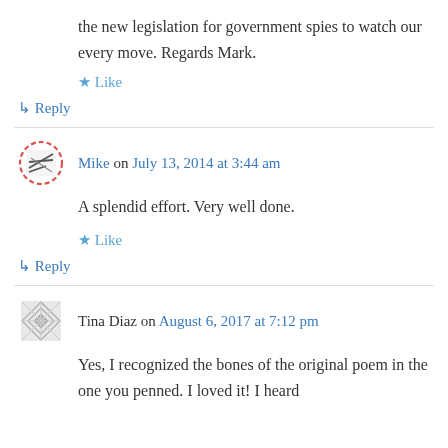the new legislation for government spies to watch our every move. Regards Mark.
★ Like
↳ Reply
Mike on July 13, 2014 at 3:44 am
A splendid effort. Very well done.
★ Like
↳ Reply
Tina Diaz on August 6, 2017 at 7:12 pm
Yes, I recognized the bones of the original poem in the one you penned. I loved it! I heard